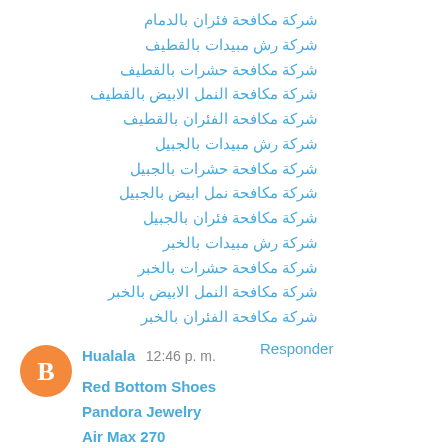شركة مكافحة فئران بالدمام
شركة رش مبيدات بالقطيف
شركة مكافحة حشرات بالقطيف
شركة مكافحة النمل الابيض بالقطيف
شركة مكافحة الفئران بالقطيف
شركة رش مبيدات بالجبيل
شركة مكافحة حشرات بالجبيل
شركة مكافحة نمل ابيض بالجبيل
شركة مكافحة فئران بالجبيل
شركة رش مبيدات بالخبر
شركة مكافحة حشرات بالخبر
شركة مكافحة النمل الابيض بالخبر
شركة مكافحة الفئران بالخبر
Responder
Hualala  12:46 p. m.
Red Bottom Shoes
Pandora Jewelry
Air Max 270
Pandora Charms Outlet
Jordan 9